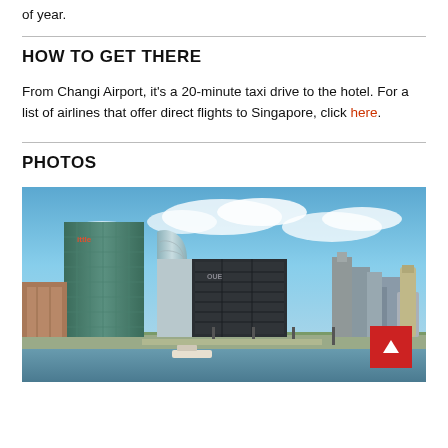of year.
HOW TO GET THERE
From Changi Airport, it's a 20-minute taxi drive to the hotel. For a list of airlines that offer direct flights to Singapore, click here.
PHOTOS
[Figure (photo): Singapore skyline along the waterfront showing modern skyscrapers including a glass tower with 'ittle' signage, a curved building, and the OUE building, under a partly cloudy blue sky. A red back-to-top button appears in the bottom right corner.]